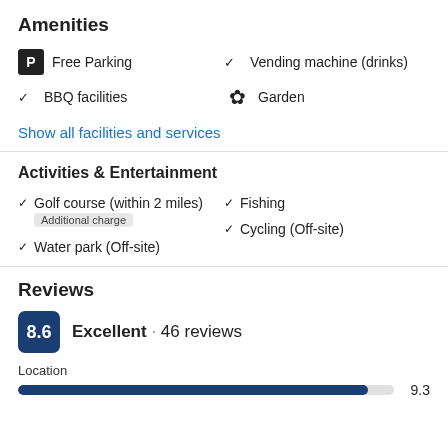Amenities
Free Parking
Vending machine (drinks)
BBQ facilities
Garden
Show all facilities and services
Activities & Entertainment
Golf course (within 2 miles) Additional charge
Fishing
Cycling (Off-site)
Water park (Off-site)
Reviews
8.6 Excellent · 46 reviews
Location
9.3